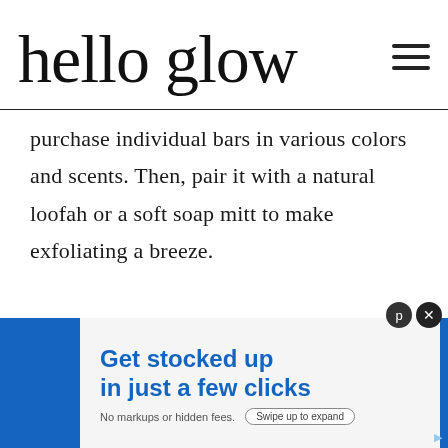hello glow
purchase individual bars in various colors and scents. Then, pair it with a natural loofah or a soft soap mitt to make exfoliating a breeze.
[Figure (other): Advertisement banner: 'Get stocked up in just a few clicks. No markups or hidden fees.' with a 'Swipe up to expand' button, displayed on a blue background with a light card overlay.]